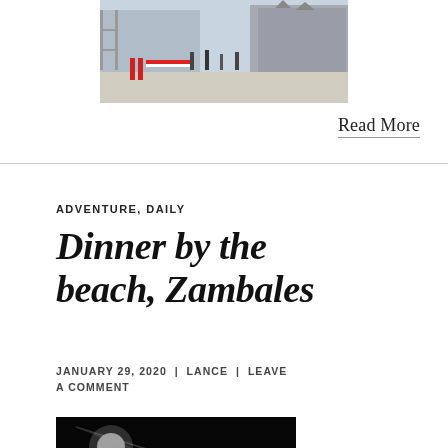[Figure (photo): Outdoor plaza scene with barriers and people, Gothic cathedral in background]
Read More
ADVENTURE, DAILY
Dinner by the beach, Zambales
JANUARY 29, 2020 | LANCE | LEAVE A COMMENT
[Figure (photo): Nighttime photo of string lights against dark sky]